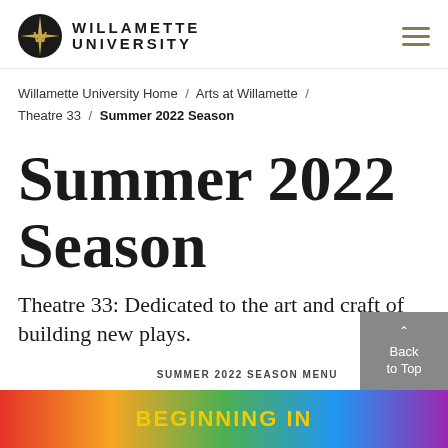[Figure (logo): Willamette University logo: compass rose with W, beside stacked text WILLAMETTE UNIVERSITY in bold caps]
Willamette University Home / Arts at Willamette / Theatre 33 / Summer 2022 Season
Summer 2022 Season
Theatre 33: Dedicated to the art and craft of building new plays.
SUMMER 2022 SEASON MENU
[Figure (illustration): Colorful banner at bottom with text BEGINNING IN]